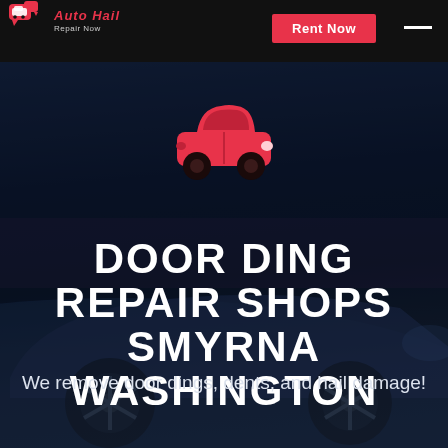Auto Hail Repair Now | Rent Now
[Figure (logo): Red car with speech bubble logo icon for Auto Hail Repair Now]
DOOR DING REPAIR SHOPS SMYRNA WASHINGTON
We remove door dings, dents, and hail damage!